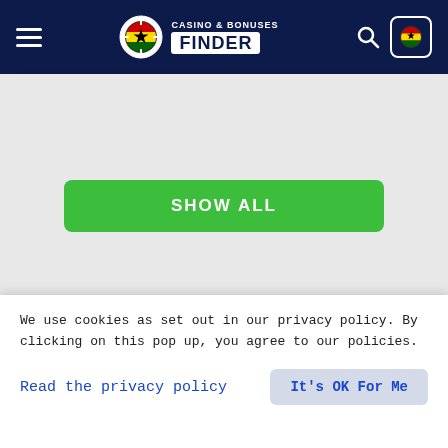Casino & Bonuses Finder — navigation header
SHOW ALL
[Figure (logo): Casino & Bonuses Finder logo in footer dark area]
Contact us
We use cookies as set out in our privacy policy. By clicking on this pop up, you agree to our policies.
Read the privacy policy
It's OK For Me